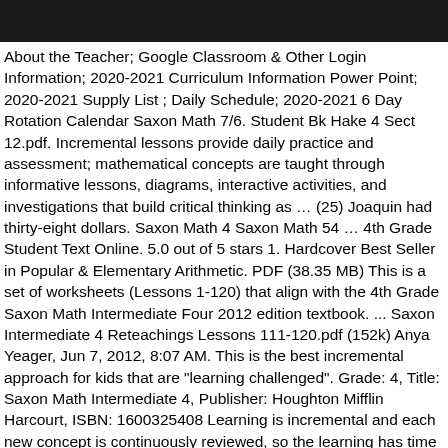About the Teacher; Google Classroom & Other Login Information; 2020-2021 Curriculum Information Power Point; 2020-2021 Supply List ; Daily Schedule; 2020-2021 6 Day Rotation Calendar Saxon Math 7/6. Student Bk Hake 4 Sect 12.pdf. Incremental lessons provide daily practice and assessment; mathematical concepts are taught through informative lessons, diagrams, interactive activities, and investigations that build critical thinking as … (25) Joaquin had thirty-eight dollars. Saxon Math 4 Saxon Math 54 … 4th Grade Student Text Online. 5.0 out of 5 stars 1. Hardcover Best Seller in Popular & Elementary Arithmetic. PDF (38.35 MB) This is a set of worksheets (Lessons 1-120) that align with the 4th Grade Saxon Math Intermediate Four 2012 edition textbook. ... Saxon Intermediate 4 Reteachings Lessons 111-120.pdf (152k) Anya Yeager, Jun 7, 2012, 8:07 AM. This is the best incremental approach for kids that are "learning challenged". Grade: 4, Title: Saxon Math Intermediate 4, Publisher: Houghton Mifflin Harcourt, ISBN: 1600325408 Learning is incremental and each new concept is continuously reviewed, so the learning has time to "sink in" instead of being forgotten when the next topic is presented. NOW is the time